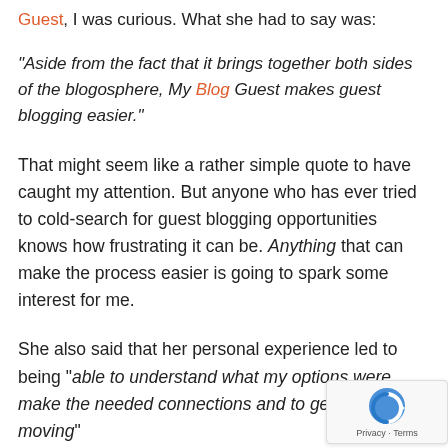Guest, I was curious. What she had to say was:
“Aside from the fact that it brings together both sides of the blogosphere, My Blog Guest makes guest blogging easier.”
That might seem like a rather simple quote to have caught my attention. But anyone who has ever tried to cold-search for guest blogging opportunities knows how frustrating it can be. Anything that can make the process easier is going to spark some interest for me.
She also said that her personal experience led to being “able to understand what my options were, make the needed connections and to get myself moving”